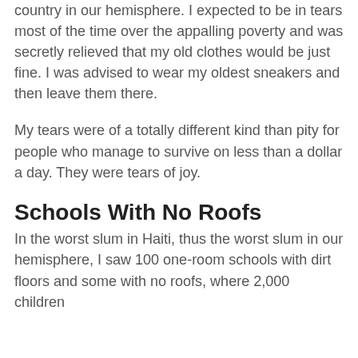country in our hemisphere. I expected to be in tears most of the time over the appalling poverty and was secretly relieved that my old clothes would be just fine. I was advised to wear my oldest sneakers and then leave them there.
My tears were of a totally different kind than pity for people who manage to survive on less than a dollar a day. They were tears of joy.
Schools With No Roofs
In the worst slum in Haiti, thus the worst slum in our hemisphere, I saw 100 one-room schools with dirt floors and some with no roofs, where 2,000 children